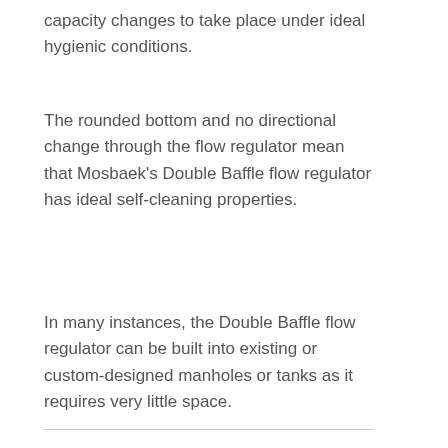capacity changes to take place under ideal hygienic conditions.
The rounded bottom and no directional change through the flow regulator mean that Mosbaek's Double Baffle flow regulator has ideal self-cleaning properties.
In many instances, the Double Baffle flow regulator can be built into existing or custom-designed manholes or tanks as it requires very little space.